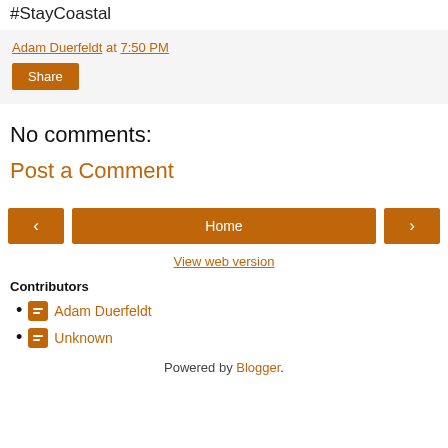#StayCoastal
Adam Duerfeldt at 7:50 PM
Share
No comments:
Post a Comment
< Home >
View web version
Contributors
Adam Duerfeldt
Unknown
Powered by Blogger.